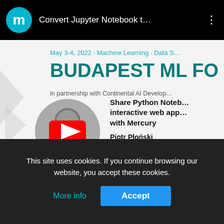[Figure (screenshot): YouTube video bar with teal 'm' logo circle, video title 'Convert Jupyter Notebook t...' in white on black background, three-dot menu icon]
[Figure (screenshot): Conference banner showing 'May 3-4, 2022 · Machine Learning · Data S...' subtitle, 'BUDAPEST ML FO' title in teal, 'in partnership with Continental AI Develop...' text, with left decorative arrow shape]
[Figure (screenshot): Video thumbnail showing circular photo of Piotr Płoński with YouTube red play button overlay, next to text: 'Share Python Noteb... interactive web app... with Mercury', speaker name 'Piotr Płoński', role 'Co-founder', company 'MLJAR']
Danubius Hotel Helia · Online   bu...
This site uses cookies. If you continue browsing our website, you accept these cookies.
More info
Accept